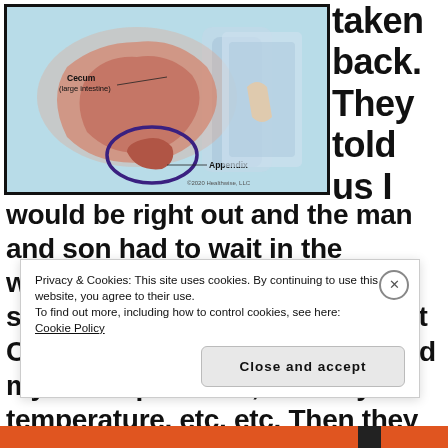[Figure (illustration): Medical illustration showing the cecum (large intestine) and appendix, with the appendix circled in dark purple/blue. Labels point to 'Cecum (large intestine)' and 'Appendix'. Copyright 2020 Healthwise LLC noted.]
taken back. They told us I would be right out and the man and son had to wait in the waiting area. I had a lot of the same tests that I'd had at Urgent Care. They weighed me, checked my blood pressure, took my temperature, etc, etc. Then they sat me in the hallway with a
Privacy & Cookies: This site uses cookies. By continuing to use this website, you agree to their use.
To find out more, including how to control cookies, see here:
Cookie Policy
Close and accept